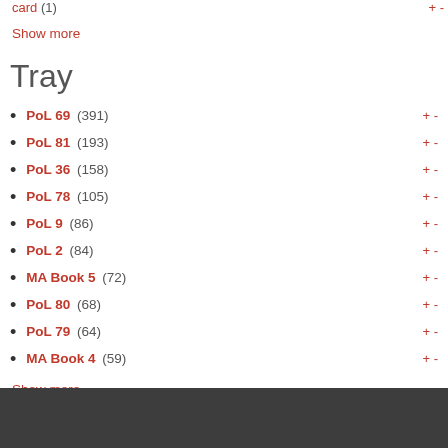card (1)
Show more
Tray
PoL 69 (391)
PoL 81 (193)
PoL 36 (158)
PoL 78 (105)
PoL 9 (86)
PoL 2 (84)
MA Book 5 (72)
PoL 80 (68)
PoL 79 (64)
MA Book 4 (59)
Show more